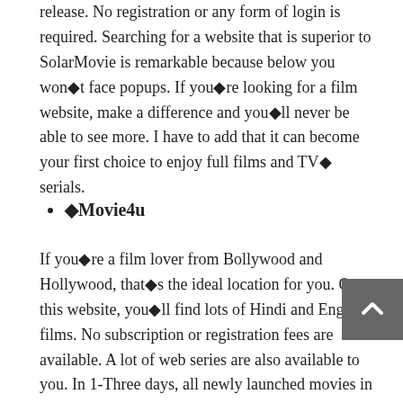release. No registration or any form of login is required. Searching for a website that is superior to SolarMovie is remarkable because below you won�t face popups. If you�re looking for a film website, make a difference and you�ll never be able to see more. I have to add that it can become your first choice to enjoy full films and TV� serials.
�Movie4u
If you�re a film lover from Bollywood and Hollywood, that�s the ideal location for you. On this website, you�ll find lots of Hindi and English films. No subscription or registration fees are available. A lot of web series are also available to you. In 1-Three days, all newly launched movies in India ca… accessed on this website. This website is easy to track movement photos with buffering at any time.